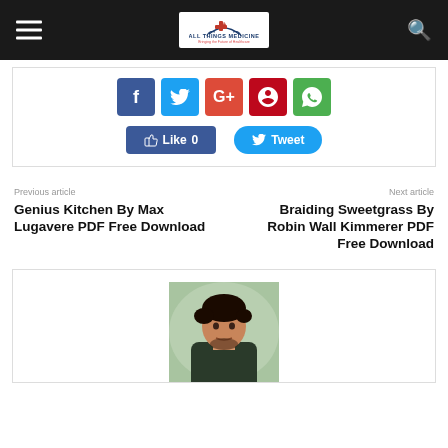All Things Medicine – Bringing the Future of Healthcare
[Figure (screenshot): Social media share buttons: Facebook, Twitter, Google+, Pinterest, WhatsApp; Like and Tweet buttons]
Previous article
Genius Kitchen By Max Lugavere PDF Free Download
Next article
Braiding Sweetgrass By Robin Wall Kimmerer PDF Free Download
[Figure (photo): Author profile photo: young man with dark curly hair, looking sideways, in dark shirt, outdoor background]